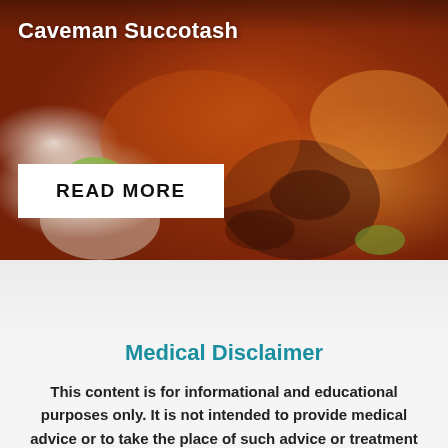[Figure (photo): Close-up photo of grilled or roasted meat pieces with herbs on a plate, warm orange-brown tones]
Caveman Succotash
READ MORE
Medical Disclaimer
This content is for informational and educational purposes only. It is not intended to provide medical advice or to take the place of such advice or treatment from a personal